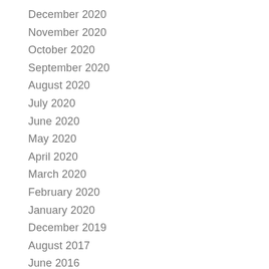December 2020
November 2020
October 2020
September 2020
August 2020
July 2020
June 2020
May 2020
April 2020
March 2020
February 2020
January 2020
December 2019
August 2017
June 2016